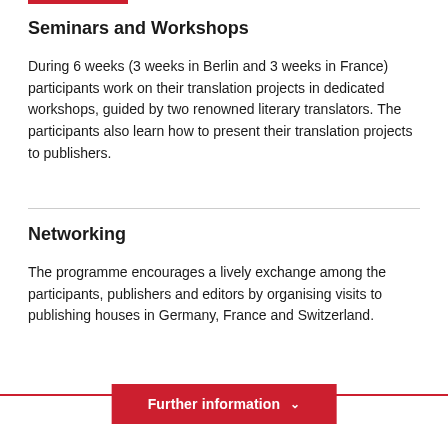Seminars and Workshops
During 6 weeks (3 weeks in Berlin and 3 weeks in France) participants work on their translation projects in dedicated workshops, guided by two renowned literary translators. The participants also learn how to present their translation projects to publishers.
Networking
The programme encourages a lively exchange among the participants, publishers and editors by organising visits to publishing houses in Germany, France and Switzerland.
Further information